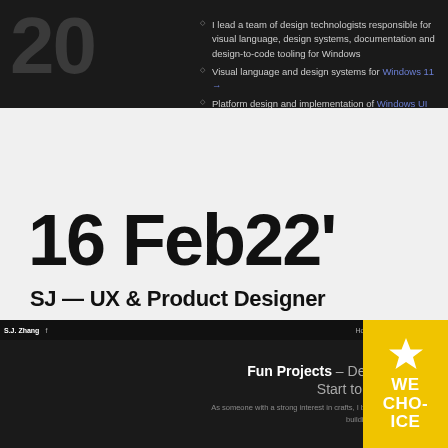20
I lead a team of design technologists responsible for visual language, design systems, documentation and design-to-code tooling for Windows
Visual language and design systems for Windows 11 →
Platform design and implementation of Windows UI →
16 Feb22'
SJ — UX & Product Designer
[Figure (screenshot): Screenshot of SJ Zhang portfolio website showing navigation bar with Home, Projects, About links and a section titled 'Fun Projects – Design, Code, From Start to Finish' with descriptive text. A yellow 'WE CHOICE ICE' award badge is visible on the right.]